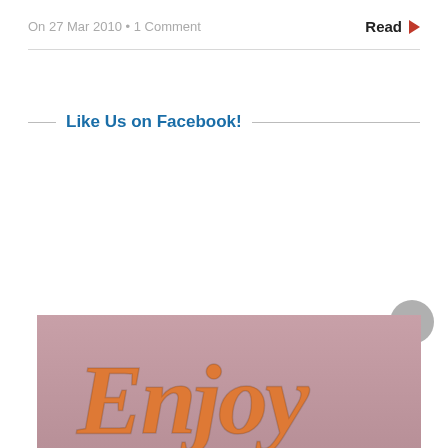On 27 Mar 2010 • 1 Comment
Read ▶
Like Us on Facebook!
[Figure (photo): A photo showing cursive orange text beginning with 'Enjoy' on a mauve/pink background]